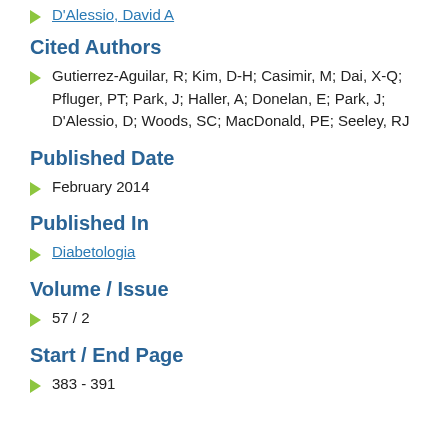D'Alessio, David A
Cited Authors
Gutierrez-Aguilar, R; Kim, D-H; Casimir, M; Dai, X-Q; Pfluger, PT; Park, J; Haller, A; Donelan, E; Park, J; D'Alessio, D; Woods, SC; MacDonald, PE; Seeley, RJ
Published Date
February 2014
Published In
Diabetologia
Volume / Issue
57 / 2
Start / End Page
383 - 391